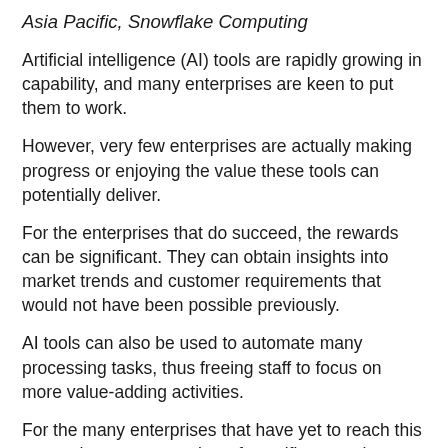Asia Pacific, Snowflake Computing
Artificial intelligence (AI) tools are rapidly growing in capability, and many enterprises are keen to put them to work.
However, very few enterprises are actually making progress or enjoying the value these tools can potentially deliver.
For the enterprises that do succeed, the rewards can be significant. They can obtain insights into market trends and customer requirements that would not have been possible previously.
AI tools can also be used to automate many processing tasks, thus freeing staff to focus on more value-adding activities.
For the many enterprises that have yet to reach this stage, there are a number of specific steps they can